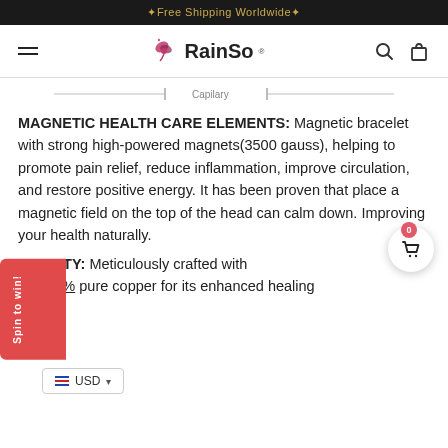✦Free Shipping Worldwide✦
[Figure (logo): RainSo brand logo with butterfly icon and hamburger menu, search and cart icons]
[Figure (schematic): Capillary diagram partial view with horizontal lines and label 'Capilary']
MAGNETIC HEALTH CARE ELEMENTS: Magnetic bracelet with strong high-powered magnets(3500 gauss), helping to promote pain relief, reduce inflammation, improve circulation, and restore positive energy. It has been proven that place a magnetic field on the top of the head can calm down. Improving your health naturally.
QUALITY: Meticulously crafted with 99.999% pure copper for its enhanced healing
[Figure (infographic): Spin to win red tab on left side and USD currency selector]